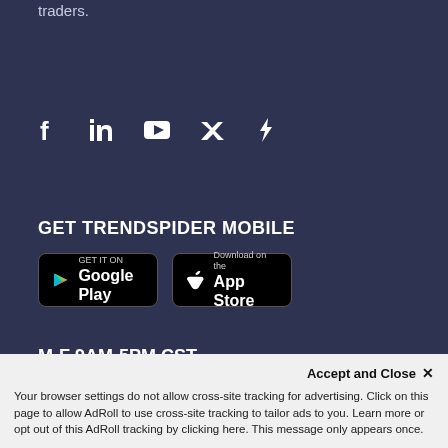traders.
[Figure (other): Social media icons: Facebook, LinkedIn, YouTube, Twitter, TrendSpider]
GET TRENDSPIDER MOBILE
[Figure (other): Google Play and Apple App Store download buttons]
M-F 9AM-5PM CST
(833) 5-TRENDS
(833) 587-3637
Home
Accept and Close ✕
Your browser settings do not allow cross-site tracking for advertising. Click on this page to allow AdRoll to use cross-site tracking to tailor ads to you. Learn more or opt out of this AdRoll tracking by clicking here. This message only appears once.